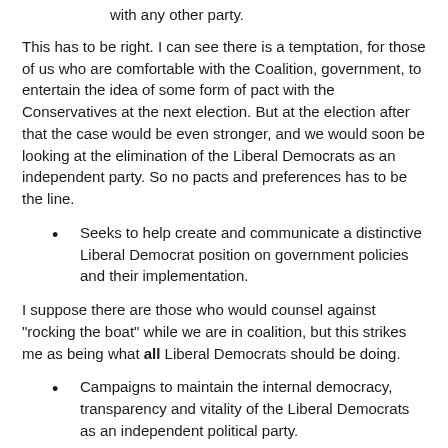with any other party.
This has to be right. I can see there is a temptation, for those of us who are comfortable with the Coalition, government, to entertain the idea of some form of pact with the Conservatives at the next election. But at the election after that the case would be even stronger, and we would soon be looking at the elimination of the Liberal Democrats as an independent party. So no pacts and preferences has to be the line.
Seeks to help create and communicate a distinctive Liberal Democrat position on government policies and their implementation.
I suppose there are those who would counsel against "rocking the boat" while we are in coalition, but this strikes me as being what all Liberal Democrats should be doing.
Campaigns to maintain the internal democracy, transparency and vitality of the Liberal Democrats as an independent political party.
Sign me up today.